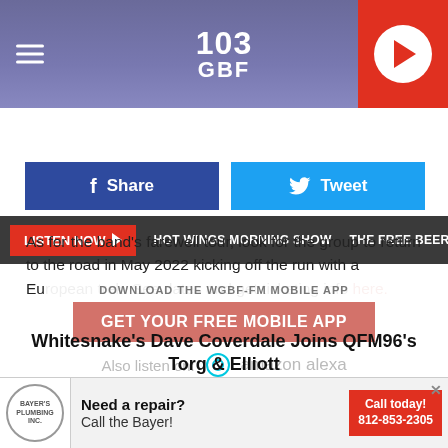[Figure (screenshot): 103 GBF radio station website header with hamburger menu, logo, and red play button]
LISTEN NOW  |  HOT WINGS MORNING SHOW  |  THE FREE BEER &A
[Figure (screenshot): Facebook Share and Twitter Tweet buttons]
As for the band's farewell tour, look for the group to return to the road in May 2022 kicking off the run with a European trek. See dates and get ticketing info here.
[Figure (screenshot): DOWNLOAD THE WGBF-FM MOBILE APP overlay with GET YOUR FREE MOBILE APP button and Amazon Alexa logo]
Whitesnake's Dave Coverdale Joins QFM96's Torg & Elliott
[Figure (screenshot): Bayer's Plumbing advertisement - Need a repair? Call the Bayer! Call today! 812-853-2305]